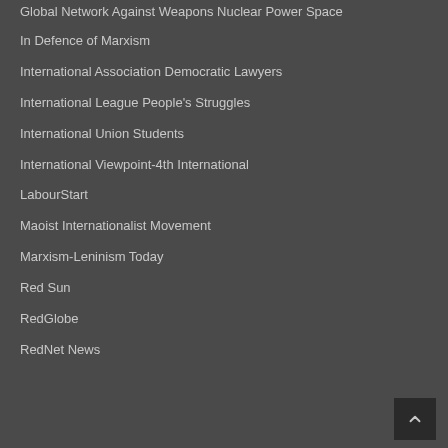Global Network Against Weapons Nuclear Power Space
In Defence of Marxism
International Association Democratic Lawyers
International League People's Struggles
International Union Students
International Viewpoint-4th International
LabourStart
Maoist Internationalist Movement
Marxism-Leninism Today
Red Sun
RedGlobe
RedNet News